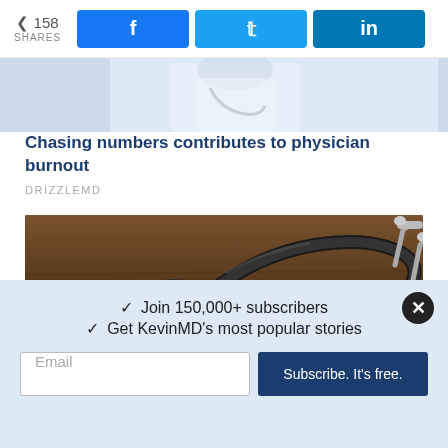158 SHARES | Facebook | Twitter | LinkedIn
[Figure (photo): Partial view of a person in a white doctor's coat or medical professional attire, cropped to show torso area]
Chasing numbers contributes to physician burnout
DRIZZLEMD
[Figure (photo): Close-up photo of a stethoscope on a wooden surface, with blurred background showing the tubing and chest piece]
✓ Join 150,000+ subscribers
✓ Get KevinMD's most popular stories
Email | Subscribe. It's free.